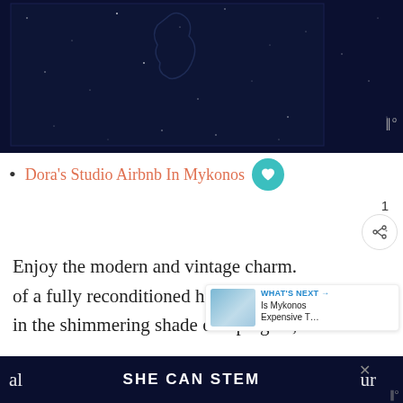[Figure (photo): Dark night sky / space background image with faint stars and a subtle design, shown at top of page]
Dora's Studio Airbnb In Mykonos
Enjoy the modern and vintage charm. of a fully reconditioned home. in the shimmering shade of a pergola,
SHE CAN STEM